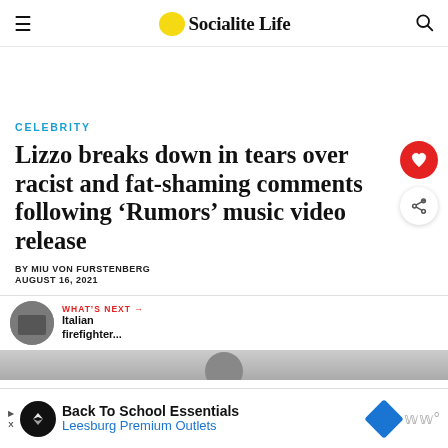Socialite Life
CELEBRITY
Lizzo breaks down in tears over racist and fat-shaming comments following ‘Rumors’ music video release
BY MIU VON FURSTENBERG
AUGUST 16, 2021
WHAT’S NEXT → Italian firefighter...
[Figure (other): Bottom advertisement banner: Back To School Essentials - Leesburg Premium Outlets]
Back To School Essentials
Leesburg Premium Outlets